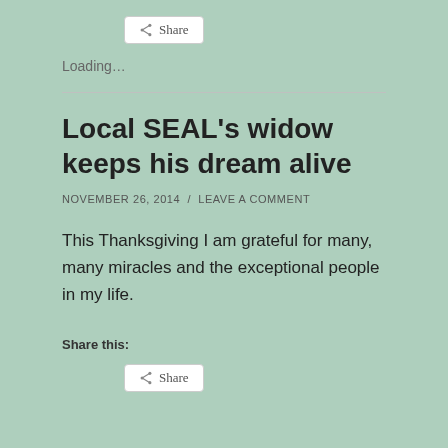Share
Loading...
Local SEAL's widow keeps his dream alive
NOVEMBER 26, 2014 / LEAVE A COMMENT
This Thanksgiving I am grateful for many, many miracles and the exceptional people in my life.
Share this:
Share